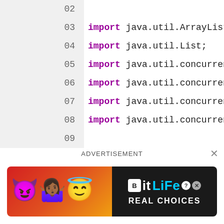[Figure (screenshot): Java source code editor screenshot showing lines 02-24 of FutureTaskDemo.java with import statements, Javadoc comment, and class declaration. Syntax highlighting: keywords in bold purple, comments in teal.]
ADVERTISEMENT
[Figure (illustration): BitLife advertisement banner with devil, person, and angel emojis on red/orange gradient background, with 'BitLife REAL CHOICES' branding on dark right panel.]